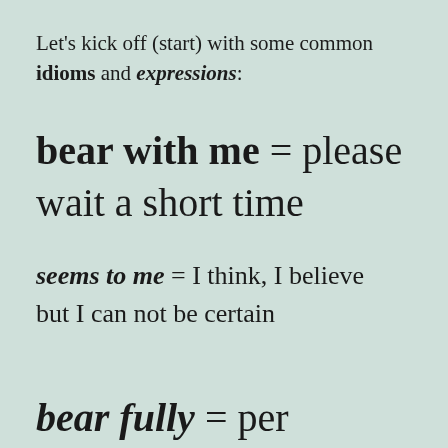Let's kick off (start) with some common idioms and expressions:
bear with me = please wait a short time
seems to me = I think, I believe but I can not be certain
bear fully? (partially visible)